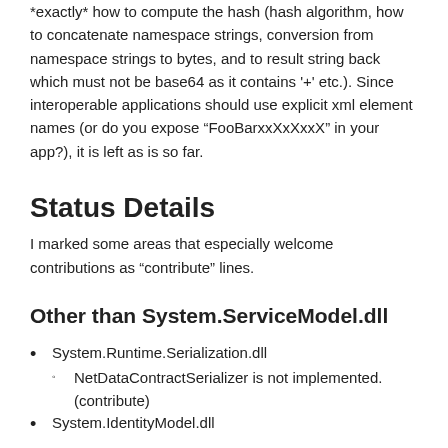*exactly* how to compute the hash (hash algorithm, how to concatenate namespace strings, conversion from namespace strings to bytes, and to result string back which must not be base64 as it contains '+' etc.). Since interoperable applications should use explicit xml element names (or do you expose “FooBarxxXxXxxX” in your app?), it is left as is so far.
Status Details
I marked some areas that especially welcome contributions as “contribute” lines.
Other than System.ServiceModel.dll
System.Runtime.Serialization.dll
NetDataContractSerializer is not implemented. (contribute)
System.IdentityModel.dll